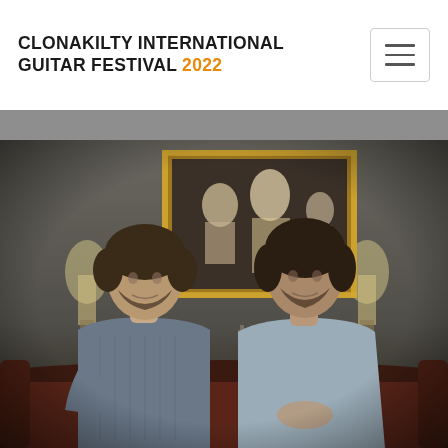CLONAKILTY INTERNATIONAL GUITAR FESTIVAL 2022
[Figure (photo): Two young men seated on an ornate dark red sofa in an elegant room. The man on the left wears a grey knit sweater and has curly hair. The man on the right wears a light blue shirt and has dark wavy hair. Behind them hangs a large gilt-framed oil painting depicting a group of figures. Two table lamps flank the painting. The room has grey walls and antique furniture.]